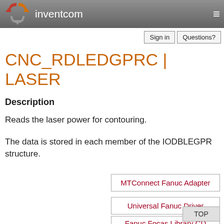inventcom
CNC_RDLEDGPRC | LASER
Description
Reads the laser power for contouring.
The data is stored in each member of the IODBLEGPR structure.
MTConnect Fanuc Adapter
Universal Fanuc Driver
TOP
Fanuc Focas Library CD